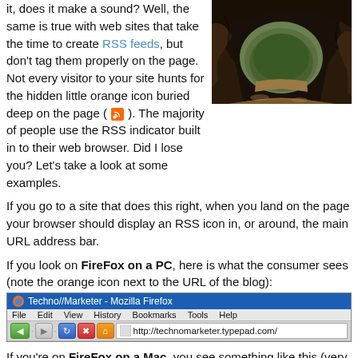it, does it make a sound? Well, the same is true with web sites that take the time to create RSS feeds, but don't tag them properly on the page. Not every visitor to your site hunts for the hidden little orange icon buried deep on the page ( [rss icon] ). The majority of people use the RSS indicator built in to their web browser. Did I lose you? Let's take a look at some examples.
[Figure (photo): Dark cave or rock arch with sandy/earthy tones, outdoor nature photograph]
If you go to a site that does this right, when you land on the page your browser should display an RSS icon in, or around, the main URL address bar.
If you look on FireFox on a PC, here is what the consumer sees (note the orange icon next to the URL of the blog):
[Figure (screenshot): Firefox browser on PC showing Techno//Marketer - Mozilla Firefox with URL bar displaying http://technomarketer.typepad.com/]
If you're on FireFox on a Mac, you see something like this (very similar to the PC version):
[Figure (screenshot): Firefox browser on Mac showing Techno//Marketer title bar with navigation toolbar]